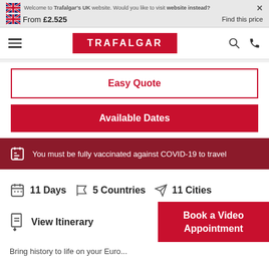Welcome to Trafalgar's UK website. Would you like to visit website instead?
From £2.525   Find this price
[Figure (logo): Trafalgar red logo with white text]
Easy Quote
Available Dates
You must be fully vaccinated against COVID-19 to travel
11 Days  5 Countries  11 Cities
View Itinerary
Book a Video Appointment
Bring history to life on your Euro...